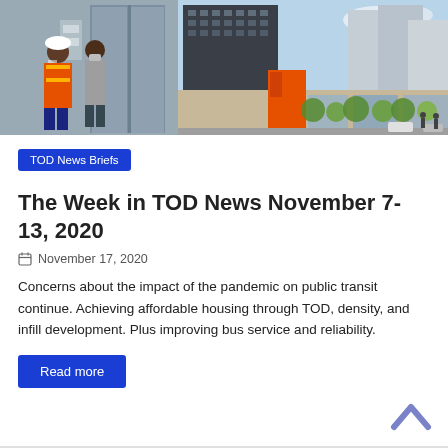[Figure (photo): Two people in hard hats and safety vests inspecting a transit facility elevator]
[Figure (photo): Architectural rendering of a mixed-use urban transit-oriented development building with retail and residential]
TOD News Briefs
The Week in TOD News November 7-13, 2020
November 17, 2020
Concerns about the impact of the pandemic on public transit continue. Achieving affordable housing through TOD, density, and infill development. Plus improving bus service and reliability.
Read more